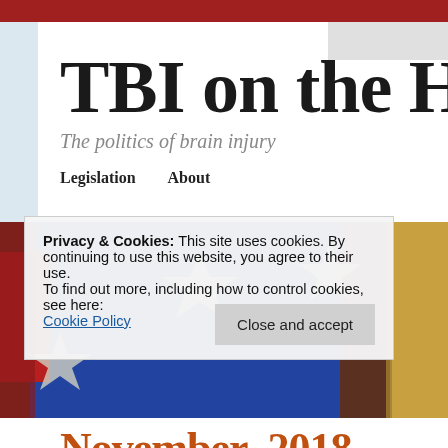TBI on the Hi
The politics of brain injury
Legislation   About
[Figure (photo): Close-up of an American flag with silver stars on blue field, red and white stripes visible, with gold fringe on the right side.]
Privacy & Cookies: This site uses cookies. By continuing to use this website, you agree to their use.
To find out more, including how to control cookies, see here: Cookie Policy
Close and accept
November 2018